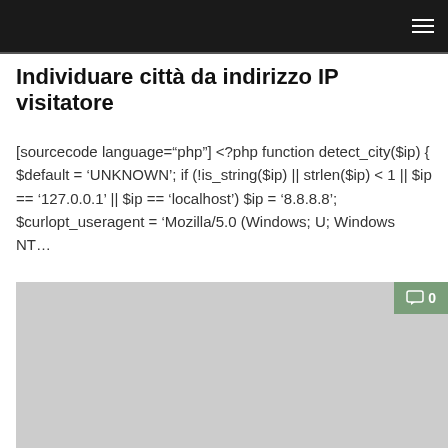Individuare città da indirizzo IP visitatore
[sourcecode language="php"] <?php function detect_city($ip) { $default = 'UNKNOWN'; if (!is_string($ip) || strlen($ip) < 1 || $ip == '127.0.0.1' || $ip == 'localhost') $ip = '8.8.8.8'; $curlopt_useragent = 'Mozilla/5.0 (Windows; U; Windows NT…
[Figure (other): Gray placeholder image block with a green comment badge showing '0' in the top right corner]